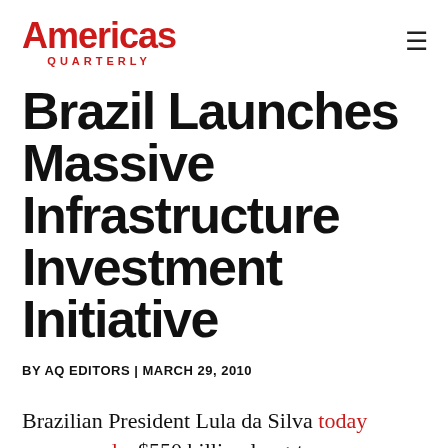Americas Quarterly
Brazil Launches Massive Infrastructure Investment Initiative
BY AQ EDITORS | MARCH 29, 2010
Brazilian President Lula da Silva today announced a $550 billion long-term infrastructure investment plan called the PAC